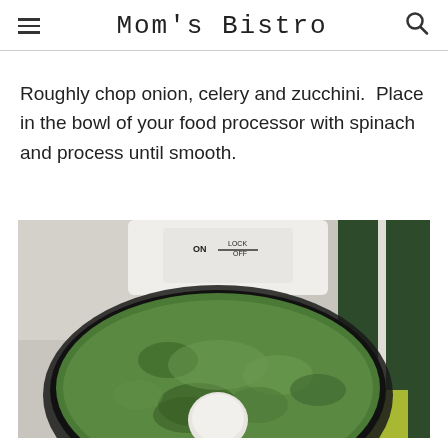Mom's Bistro
Roughly chop onion, celery and zucchini.  Place in the bowl of your food processor with spinach and process until smooth.
[Figure (photo): Top-down view of a food processor bowl filled with finely chopped green vegetables (onion, celery, zucchini, spinach). The white processor lid with ON/LOCK/OFF labels is visible at the top. A bag of spinach is visible in the background on the right.]